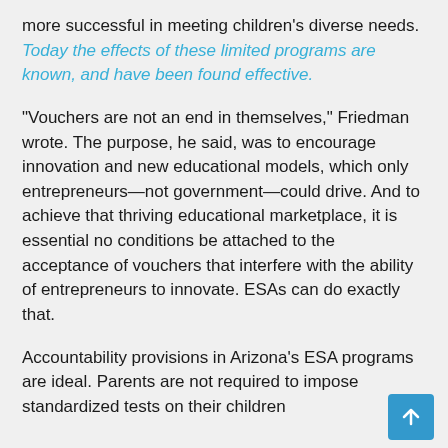more successful in meeting children's diverse needs. Today the effects of these limited programs are known, and have been found effective.
"Vouchers are not an end in themselves," Friedman wrote. The purpose, he said, was to encourage innovation and new educational models, which only entrepreneurs—not government—could drive. And to achieve that thriving educational marketplace, it is essential no conditions be attached to the acceptance of vouchers that interfere with the ability of entrepreneurs to innovate. ESAs can do exactly that.
Accountability provisions in Arizona's ESA programs are ideal. Parents are not required to impose standardized tests on their children...